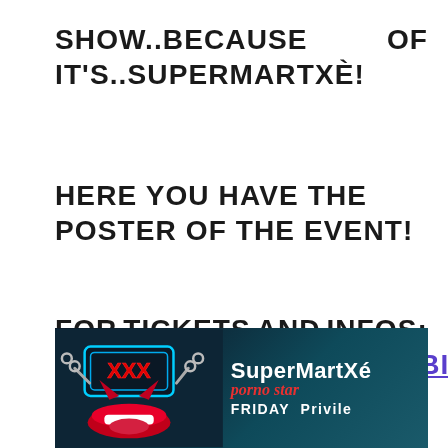SHOW..BECAUSE OF IT'S..SUPERMARTXÈ!
HERE YOU HAVE THE POSTER OF THE EVENT!
FOR TICKETS AND INFOS: HTTP://WWW.PRIVILEGEIBIZA.COM
[Figure (photo): Event poster for SuperMartXé Porno Star event at Privilège, showing a stylized image with lips, chains, XXX signage in neon, and the event title SuperMartXé Porno Star, Friday at Privilège.]